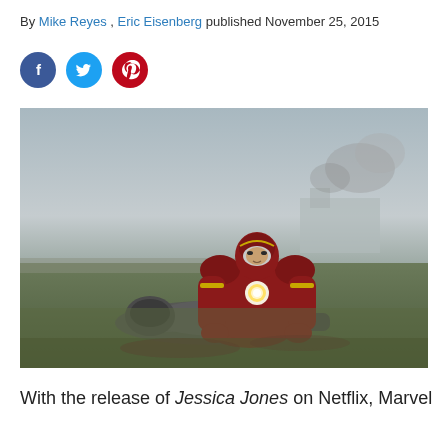By Mike Reyes , Eric Eisenberg published November 25, 2015
[Figure (other): Social media sharing icons: Facebook (blue circle), Twitter (blue circle), Pinterest (red circle)]
[Figure (photo): Iron Man (Tony Stark) in red and gold armor kneeling on grass field, holding another armored figure lying on the ground, with smoke and a building visible in the background. Scene from a Marvel superhero film.]
With the release of Jessica Jones on Netflix, Marvel